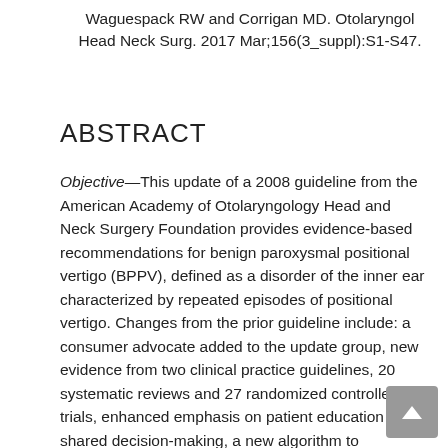Waguespack RW and Corrigan MD. Otolaryngol Head Neck Surg. 2017 Mar;156(3_suppl):S1-S47.
ABSTRACT
Objective—This update of a 2008 guideline from the American Academy of Otolaryngology Head and Neck Surgery Foundation provides evidence-based recommendations for benign paroxysmal positional vertigo (BPPV), defined as a disorder of the inner ear characterized by repeated episodes of positional vertigo. Changes from the prior guideline include: a consumer advocate added to the update group, new evidence from two clinical practice guidelines, 20 systematic reviews and 27 randomized controlled trials, enhanced emphasis on patient education and shared decision-making, a new algorithm to